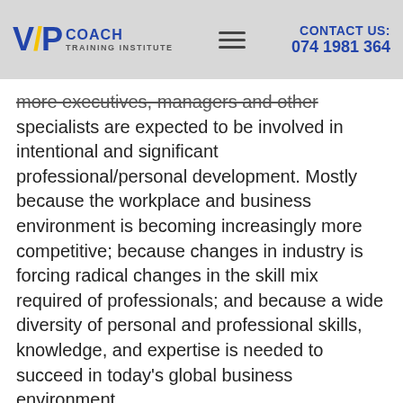VP COACH TRAINING INSTITUTE | CONTACT US: 074 1981 364
more executives, managers and other specialists are expected to be involved in intentional and significant professional/personal development. Mostly because the workplace and business environment is becoming increasingly more competitive; because changes in industry is forcing radical changes in the skill mix required of professionals; and because a wide diversity of personal and professional skills, knowledge, and expertise is needed to succeed in today's global business environment.